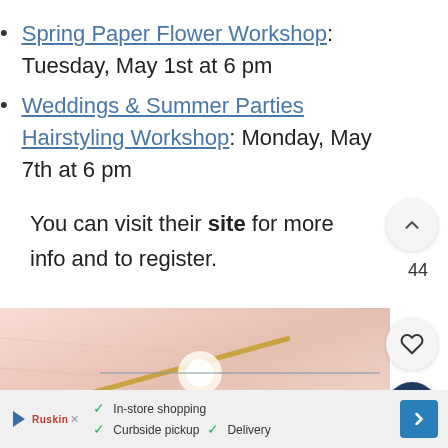Spring Paper Flower Workshop: Tuesday, May 1st at 6 pm
Weddings & Summer Parties Hairstyling Workshop: Monday, May 7th at 6 pm
You can visit their site for more info and to register.
[Figure (photo): Interior photo showing a gold/brass pendant light fixture against a soft pink/blush draped fabric ceiling background]
[Figure (infographic): Advertisement bar with play icon, brand logo, checkmarks for In-store shopping, Curbside pickup, Delivery, and a blue navigation arrow icon]